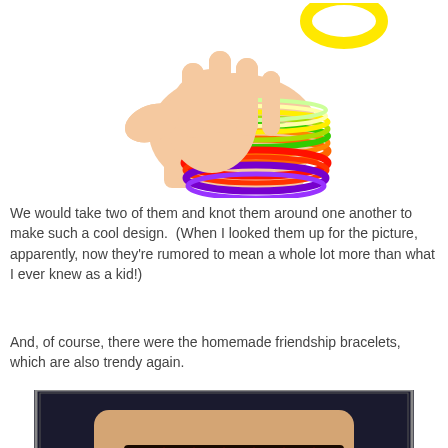[Figure (photo): A hand with multiple colorful rainbow rubber bracelets/jelly bands stacked on the wrist, showing orange, green, yellow, red, and purple bands. A yellow circular band is visible in the upper right corner.]
We would take two of them and knot them around one another to make such a cool design.  (When I looked them up for the picture, apparently, now they're rumored to mean a whole lot more than what I ever knew as a kid!)
And, of course, there were the homemade friendship bracelets, which are also trendy again.
[Figure (photo): A wrist wearing a colorful handmade friendship bracelet with a zigzag/chevron pattern in red, blue, yellow, green, and other bright colors against a dark background. A light blue cord is also visible.]